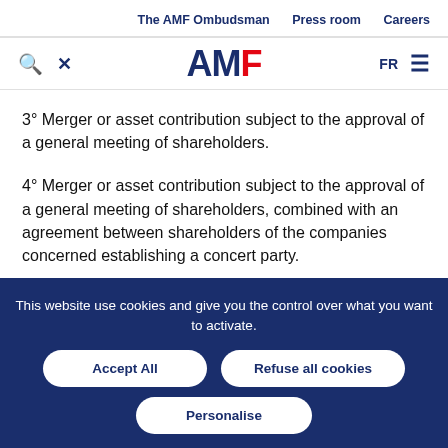The AMF Ombudsman   Press room   Careers
[Figure (logo): AMF logo with search and menu icons]
3° Merger or asset contribution subject to the approval of a general meeting of shareholders.
4° Merger or asset contribution subject to the approval of a general meeting of shareholders, combined with an agreement between shareholders of the companies concerned establishing a concert party.
This website use cookies and give you the control over what you want to activate.
Accept All
Refuse all cookies
Personalise